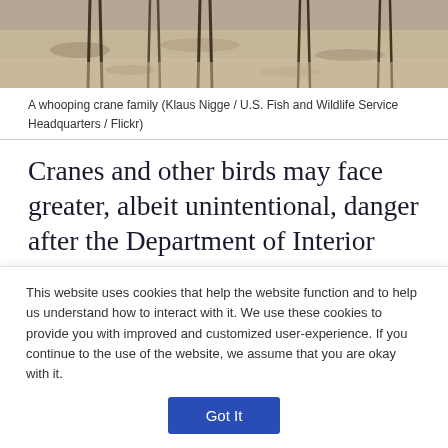[Figure (photo): A whooping crane family wading in shallow water/mudflat, with crane legs visible and sandy/muddy ground background.]
A whooping crane family (Klaus Nigge / U.S. Fish and Wildlife Service Headquarters / Flickr)
Cranes and other birds may face greater, albeit unintentional, danger after the Department of Interior released a legal opinion on Dec. 22 reinterpreting the Migratory Bird Treaty Act, a 100-year old wildlife law that bans the killing, capturing and sale of migratory birds, as not applying to accidental or incidental killings.
This website uses cookies that help the website function and to help us understand how to interact with it. We use these cookies to provide you with improved and customized user-experience. If you continue to the use of the website, we assume that you are okay with it.